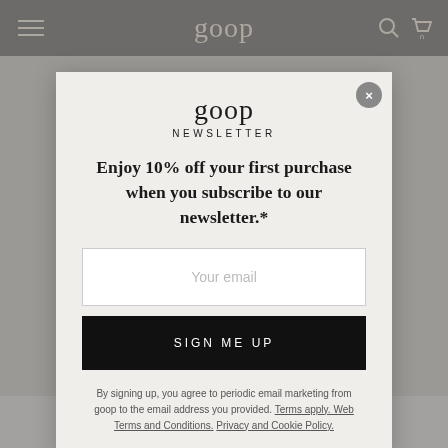goop
goop
NEWSLETTER
Enjoy 10% off your first purchase when you subscribe to our newsletter.*
Your email
SIGN ME UP
By signing up, you agree to periodic email marketing from goop to the email address you provided. Terms apply. Web Terms and Conditions. Privacy and Cookie Policy.